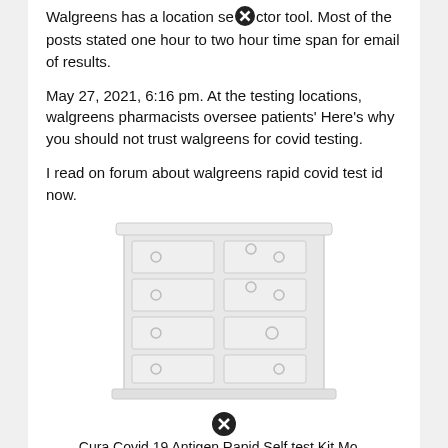Walgreens has a location selector tool. Most of the posts stated one hour to two hour time span for email of results.
May 27, 2021, 6:16 pm. At the testing locations, walgreens pharmacists oversee patients' Here's why you should not trust walgreens for covid testing.
I read on forum about walgreens rapid covid test id now.
[Figure (illustration): A light gray illustrated dresser/chest of drawers with multiple drawers each having small circular handles.]
Cura Covid 19 Antigen Rapid Self test Kit Mo...